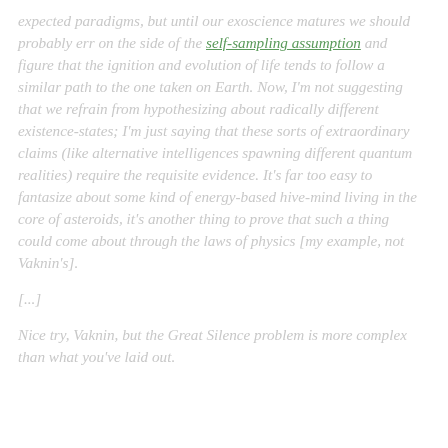expected paradigms, but until our exoscience matures we should probably err on the side of the self-sampling assumption and figure that the ignition and evolution of life tends to follow a similar path to the one taken on Earth. Now, I'm not suggesting that we refrain from hypothesizing about radically different existence-states; I'm just saying that these sorts of extraordinary claims (like alternative intelligences spawning different quantum realities) require the requisite evidence. It's far too easy to fantasize about some kind of energy-based hive-mind living in the core of asteroids, it's another thing to prove that such a thing could come about through the laws of physics [my example, not Vaknin's].
[...]
Nice try, Vaknin, but the Great Silence problem is more complex than what you've laid out.